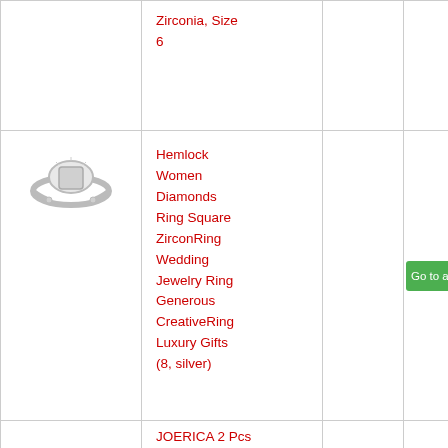| Image | Product Title | Price | Action |
| --- | --- | --- | --- |
| [ring image] | Zirconia, Size 6 |  |  |
| [ring image] | Hemlock Women Diamonds Ring Square ZirconRing Wedding Jewelry Ring Generous CreativeRing Luxury Gifts (8, silver) |  | Go to amazon.com |
|  | JOERICA 2 Pcs... |  |  |